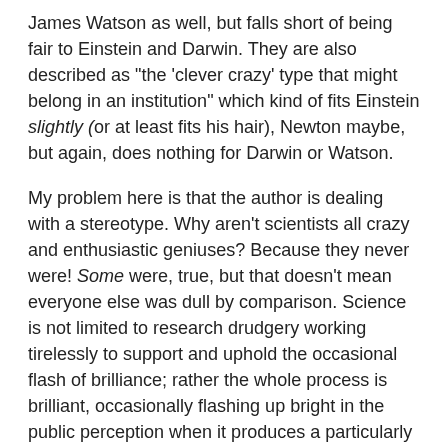James Watson as well, but falls short of being fair to Einstein and Darwin. They are also described as "the 'clever crazy' type that might belong in an institution" which kind of fits Einstein slightly (or at least fits his hair), Newton maybe, but again, does nothing for Darwin or Watson.
My problem here is that the author is dealing with a stereotype. Why aren't scientists all crazy and enthusiastic geniuses? Because they never were! Some were, true, but that doesn't mean everyone else was dull by comparison. Science is not limited to research drudgery working tirelessly to support and uphold the occasional flash of brilliance; rather the whole process is brilliant, occasionally flashing up bright in the public perception when it produces a particularly intelligent person (Einstein etc), or a particularly good idea (vaccination, antibiotics, etc). It is these flashes which get remembered, and worked into stories, and pointed out years later as stark events that existed on their own.
I resent the fact that I am meant to believe my work is dull but necessary just because I'm never going to reach the dizzy heights of selective fame. I also resent that I am told /